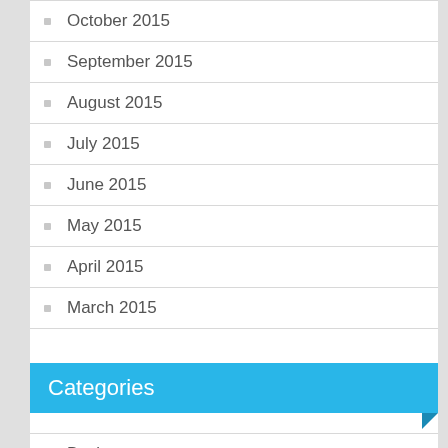October 2015
September 2015
August 2015
July 2015
June 2015
May 2015
April 2015
March 2015
Categories
Business
Health
Home Improvement
Law